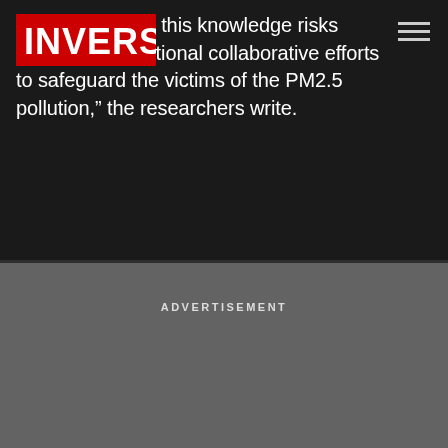INVERSE
This absence of knowledge risks delaying international collaborative efforts to safeguard the victims of the PM2.5 pollution,” the researchers write.
ADVERTISEMENT